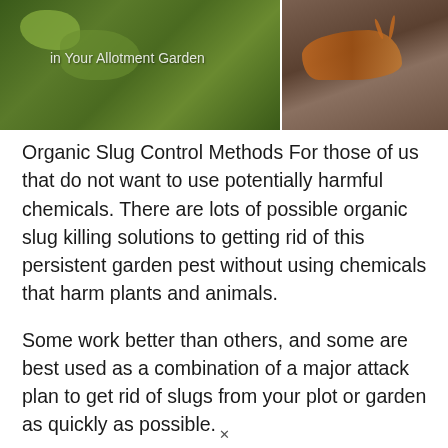[Figure (photo): Two-panel photo banner: left side shows green garden plants/foliage, right side shows a brown slug on soil. Watermark text reads 'in Your Allotment Garden'.]
Organic Slug Control Methods For those of us that do not want to use potentially harmful chemicals.  There are lots of possible organic slug killing solutions to getting rid of this persistent garden pest without using chemicals that harm plants and animals.
Some work better than others, and some are best used as a combination of a major attack plan to get rid of slugs from your plot or garden as quickly as possible.